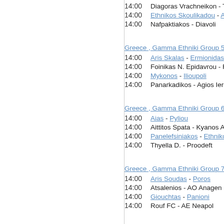14:00  Diagoras Vrachneikon - Tilik...
14:00  Ethnikos Skoulikadou - Aias G...
14:00  Nafpaktiakos - Diavoli...
Greece , Gamma Ethniki Group 5
14:00  Aris Skalas - Ermionidas-...
14:00  Foinikas N. Epidavrou - Fo...
14:00  Mykonos - Ilioupoli
14:00  Panarkadikos - Agios Iero...
Greece , Gamma Ethniki Group 6
14:00  Aias - Pyliou
14:00  Aittitos Spata - Kyanos A...
14:00  Panelefsiniakos - Ethnikos ...
14:00  Thyella D. - Proodeft...
Greece , Gamma Ethniki Group 7
14:00  Aris Soudas - Poros
14:00  Atsalenios - AO Anagen...
14:00  Giouchtas - Panioni...
14:00  Rouf FC - AE Neapol...